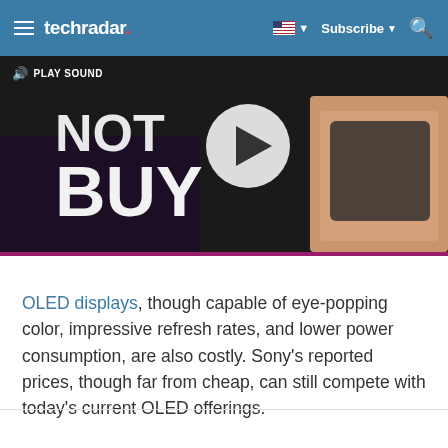techradar | Subscribe | Search
[Figure (screenshot): Video thumbnail showing text 'NOT TO BUY' with a play button overlay and PLAY SOUND label on a dark background with a person holding a phone]
OLED displays, though capable of eye-popping color, impressive refresh rates, and lower power consumption, are also costly. Sony's reported prices, though far from cheap, can still compete with today's current OLED offerings.